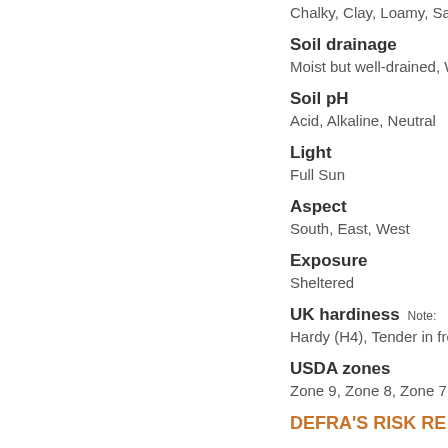Chalky, Clay, Loamy, Sandy
Soil drainage
Moist but well-drained, We…
Soil pH
Acid, Alkaline, Neutral
Light
Full Sun
Aspect
South, East, West
Exposure
Sheltered
UK hardiness
Hardy (H4), Tender in frost…
USDA zones
Zone 9, Zone 8, Zone 7, Z…
DEFRA'S RISK RE…